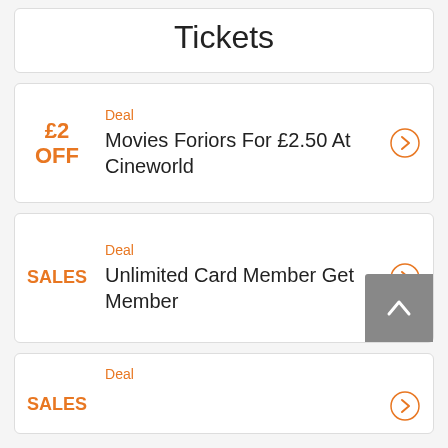Tickets
Deal
£2 OFF
Movies Foriors For £2.50 At Cineworld
Deal
SALES
Unlimited Card Member Get Member
Deal
SALES